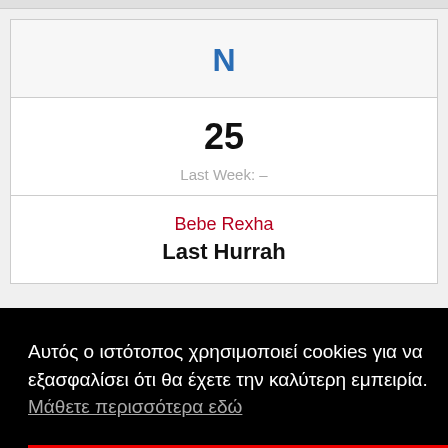N
25
Last Week: –
Bebe Rexha
Last Hurrah
Αυτός ο ιστότοπος χρησιμοποιεί cookies για να εξασφαλίσει ότι θα έχετε την καλύτερη εμπειρία.  Μάθετε περισσότερα εδώ
ΔΕΧΟΜΑΙ